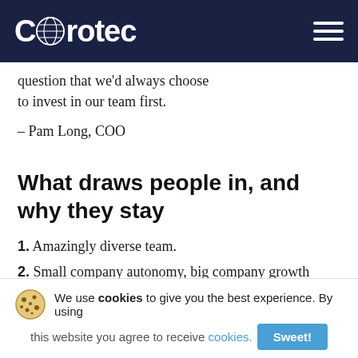[Figure (logo): Curotec logo with globe icon on dark navy navigation bar, with hamburger menu icon on the right]
question that we'd always choose to invest in our team first.
– Pam Long, COO
What draws people in, and why they stay
1. Amazingly diverse team.
2. Small company autonomy, big company growth
We use cookies to give you the best experience. By using this website you agree to receive cookies.